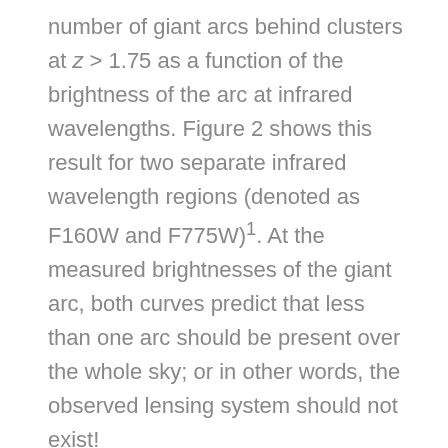number of giant arcs behind clusters at z > 1.75 as a function of the brightness of the arc at infrared wavelengths. Figure 2 shows this result for two separate infrared wavelength regions (denoted as F160W and F775W)¹. At the measured brightnesses of the giant arc, both curves predict that less than one arc should be present over the whole sky; or in other words, the observed lensing system should not exist!